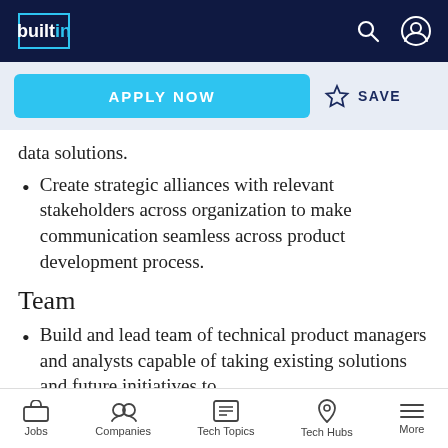builtin [logo] — navigation bar with search and profile icons
data solutions.
Create strategic alliances with relevant stakeholders across organization to make communication seamless across product development process.
Team
Build and lead team of technical product managers and analysts capable of taking existing solutions and future initiatives to
Jobs | Companies | Tech Topics | Tech Hubs | More